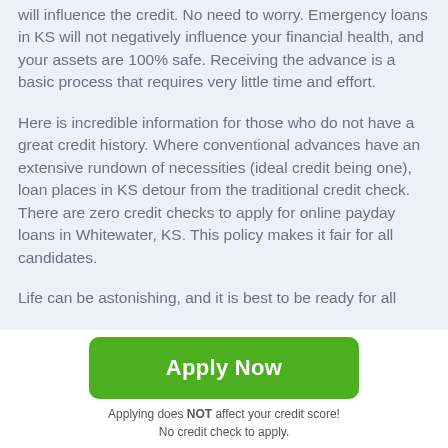will influence the credit. No need to worry. Emergency loans in KS will not negatively influence your financial health, and your assets are 100% safe. Receiving the advance is a basic process that requires very little time and effort.
Here is incredible information for those who do not have a great credit history. Where conventional advances have an extensive rundown of necessities (ideal credit being one), loan places in KS detour from the traditional credit check. There are zero credit checks to apply for online payday loans in Whitewater, KS. This policy makes it fair for all candidates.
Life can be astonishing, and it is best to be ready for all
[Figure (other): Green 'Apply Now' button]
Applying does NOT affect your credit score!
No credit check to apply.